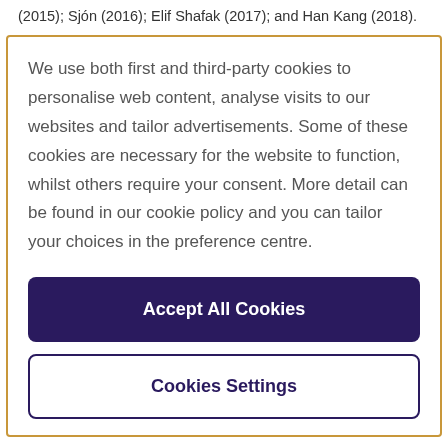(2015); Sjón (2016); Elif Shafak (2017); and Han Kang (2018).
We use both first and third-party cookies to personalise web content, analyse visits to our websites and tailor advertisements. Some of these cookies are necessary for the website to function, whilst others require your consent. More detail can be found in our cookie policy and you can tailor your choices in the preference centre.
Accept All Cookies
Cookies Settings